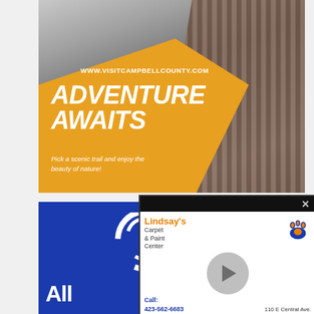[Figure (illustration): Visit Campbell County tourism ad with black and white mountain/boardwalk photo background, yellow triangle overlay, URL www.visitcampbellcounty.com, headline ADVENTURE AWAITS, tagline Pick a scenic trail and enjoy the beauty of nature!]
[Figure (illustration): Allstate insurance ad with blue background and white Allstate logo text partially visible, overlapped by Lindsay's Carpet & Paint Center video popup with play button, paw print logo, call info 423-562-6683, address 110 E Central Ave.]